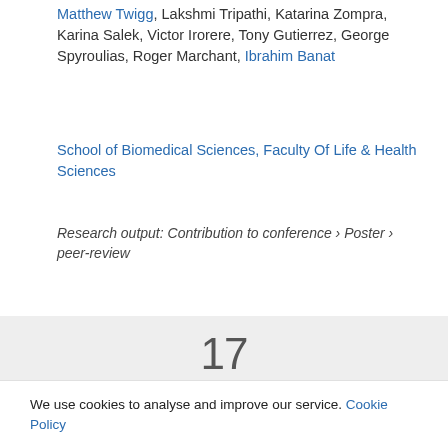Matthew Twigg, Lakshmi Tripathi, Katarina Zompra, Karina Salek, Victor Irorere, Tony Gutierrez, George Spyroulias, Roger Marchant, Ibrahim Banat
School of Biomedical Sciences, Faculty Of Life & Health Sciences
Research output: Contribution to conference › Poster › peer-review
17
Downloads
(Pure)
Overview   Fingerprint
We use cookies to analyse and improve our service. Cookie Policy